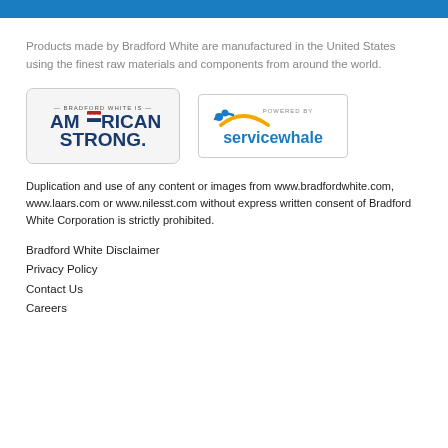[Figure (other): Blue horizontal bar at top of page]
Products made by Bradford White are manufactured in the United States using the finest raw materials and components from around the world.
[Figure (logo): Bradford White Is American Strong badge logo]
[Figure (logo): Powered by Servicewhale logo]
Duplication and use of any content or images from www.bradfordwhite.com, www.laars.com or www.nilesst.com without express written consent of Bradford White Corporation is strictly prohibited.
Bradford White Disclaimer
Privacy Policy
Contact Us
Careers